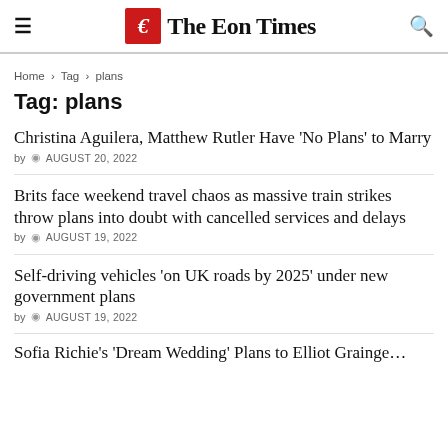The Eon Times
Home > Tag > plans
Tag: plans
Christina Aguilera, Matthew Rutler Have 'No Plans' to Marry
by  AUGUST 20, 2022
Brits face weekend travel chaos as massive train strikes throw plans into doubt with cancelled services and delays
by  AUGUST 19, 2022
Self-driving vehicles 'on UK roads by 2025' under new government plans
by  AUGUST 19, 2022
Sofia Richie's 'Dream Wedding' Plans to Elliot Grainge…